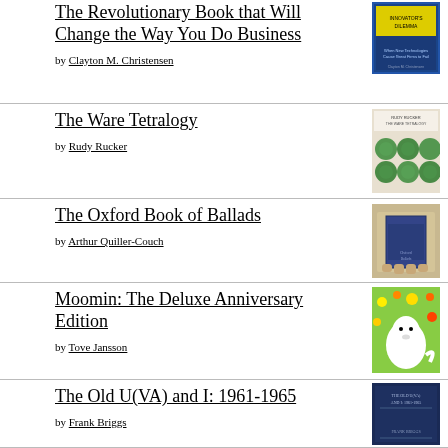The Revolutionary Book that Will Change the Way You Do Business by Clayton M. Christensen
The Ware Tetralogy by Rudy Rucker
The Oxford Book of Ballads by Arthur Quiller-Couch
Moomin: The Deluxe Anniversary Edition by Tove Jansson
The Old U(VA) and I: 1961-1965 by Frank Briggs